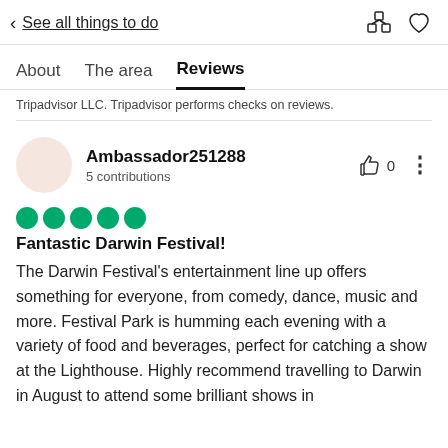< See all things to do
About   The area   Reviews
Tripadvisor LLC. Tripadvisor performs checks on reviews.
Ambassador251288
5 contributions
[Figure (other): 5 green rating dots (Tripadvisor style rating)]
Fantastic Darwin Festival!
The Darwin Festival's entertainment line up offers something for everyone, from comedy, dance, music and more. Festival Park is humming each evening with a variety of food and beverages, perfect for catching a show at the Lighthouse. Highly recommend travelling to Darwin in August to attend some brilliant shows in